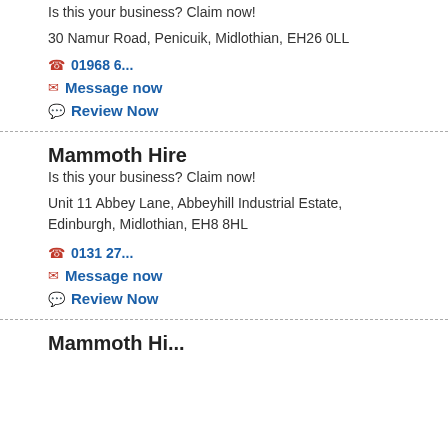Is this your business? Claim now!
30 Namur Road, Penicuik, Midlothian, EH26 0LL
01968 6...
Message now
Review Now
Mammoth Hire
Is this your business? Claim now!
Unit 11 Abbey Lane, Abbeyhill Industrial Estate, Edinburgh, Midlothian, EH8 8HL
0131 27...
Message now
Review Now
Mammoth Hi...